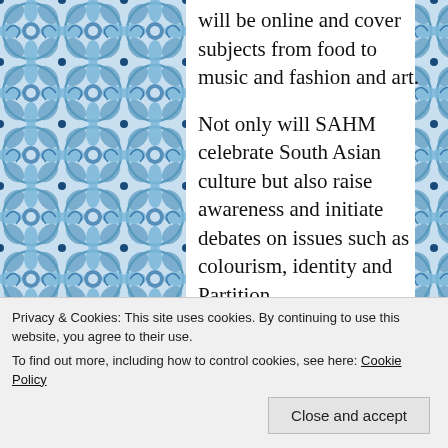will be online and cover subjects from food to music and fashion and art.
Not only will SAHM celebrate South Asian culture but also raise awareness and initiate debates on issues such as colourism, identity and Partition.
Privacy & Cookies: This site uses cookies. By continuing to use this website, you agree to their use.
To find out more, including how to control cookies, see here: Cookie Policy
Close and accept
expand our knowledge